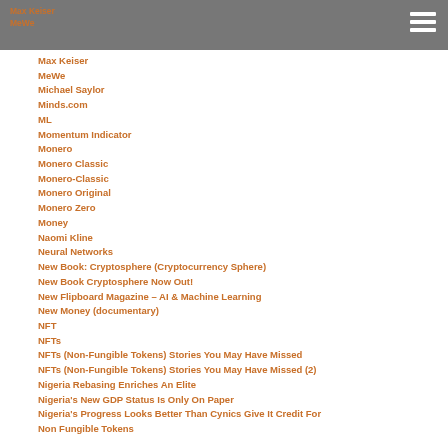Max Keiser
MeWe
Max Keiser
MeWe
Michael Saylor
Minds.com
ML
Momentum Indicator
Monero
Monero Classic
Monero-Classic
Monero Original
Monero Zero
Money
Naomi Kline
Neural Networks
New Book: Cryptosphere (Cryptocurrency Sphere)
New Book Cryptosphere Now Out!
New Flipboard Magazine – AI & Machine Learning
New Money (documentary)
NFT
NFTs
NFTs (Non-Fungible Tokens) Stories You May Have Missed
NFTs (Non-Fungible Tokens) Stories You May Have Missed (2)
Nigeria Rebasing Enriches An Elite
Nigeria's New GDP Status Is Only On Paper
Nigeria's Progress Looks Better Than Cynics Give It Credit For
Non Fungible Tokens